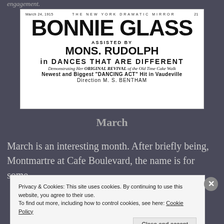engagement.
[Figure (screenshot): Newspaper advertisement from The New York Dramatic Mirror, March 24, 1915, page 21. Advertises BONNIE GLASS assisted by MONS. RUDOLPH in DANCES THAT ARE DIFFERENT. Demonstrating Her ORIGINAL REVIVAL of the Old Time Cake Walk. Newest and Biggest "DANCING ACT" Hit in Vaudeville. Direction M. S. BENTHAM.]
March
March is an interesting month. After briefly being, Montmartre at Cafe Boulevard, the name is for some
Privacy & Cookies: This site uses cookies. By continuing to use this website, you agree to their use.
To find out more, including how to control cookies, see here: Cookie Policy
Close and accept